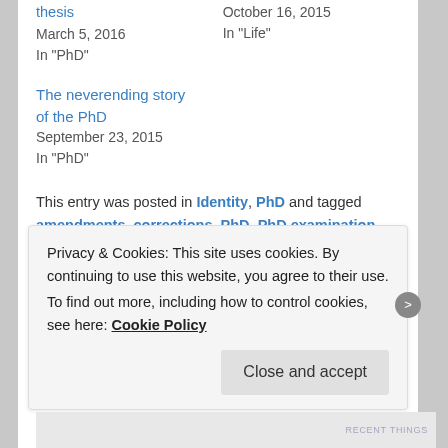thesis
March 5, 2016
In "PhD"
October 16, 2015
In "Life"
The neverending story of the PhD
September 23, 2015
In "PhD"
This entry was posted in Identity, PhD and tagged amendments, corrections, PhD, PhD examination, revisions by Dr Deborah M. Netolicky. Bookmark the permalink.
14 THOUGHTS ON "DOING PHD REVISIONS: THE LAST THESIS
Privacy & Cookies: This site uses cookies. By continuing to use this website, you agree to their use.
To find out more, including how to control cookies, see here: Cookie Policy